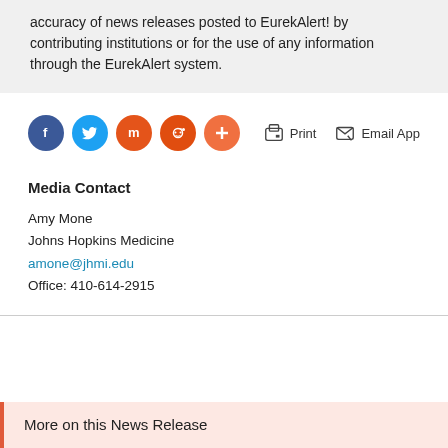accuracy of news releases posted to EurekAlert! by contributing institutions or for the use of any information through the EurekAlert system.
[Figure (infographic): Social sharing buttons: Facebook (blue circle, f), Twitter (light blue circle, bird icon), Mix (orange-red circle, m), Reddit (orange circle, alien icon), Plus/More (light orange circle, + icon). Action buttons: Print (printer icon), Email App (envelope icon).]
Media Contact
Amy Mone
Johns Hopkins Medicine
amone@jhmi.edu
Office: 410-614-2915
More on this News Release